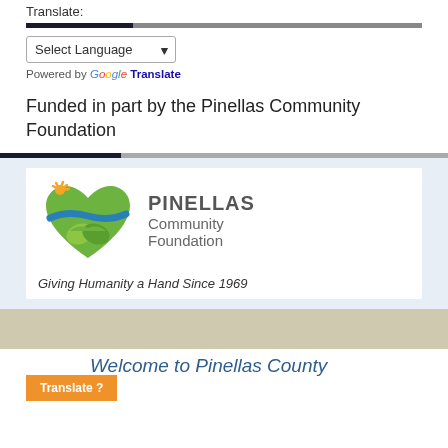Translate:
[Figure (other): Select Language dropdown widget with Google Translate branding]
Funded in part by the Pinellas Community Foundation
[Figure (logo): Pinellas Community Foundation logo with heart-shaped hands graphic, orange sun, blue wave, and tagline 'Giving Humanity a Hand Since 1969']
Welcome to Pinellas County
Translate ?